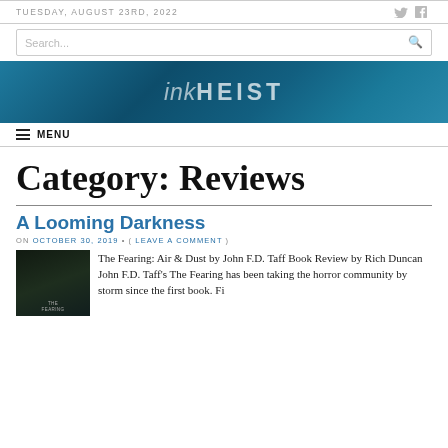TUESDAY, AUGUST 23RD, 2022
[Figure (screenshot): Search bar with magnifying glass icon]
[Figure (logo): inkHEIST banner logo on teal/blue textured background]
MENU
Category: Reviews
A Looming Darkness
ON OCTOBER 30, 2019 • ( LEAVE A COMMENT )
The Fearing: Air & Dust by John F.D. Taff Book Review by Rich Duncan John F.D. Taff's The Fearing has been taking the horror community by storm since the first book. Fi…